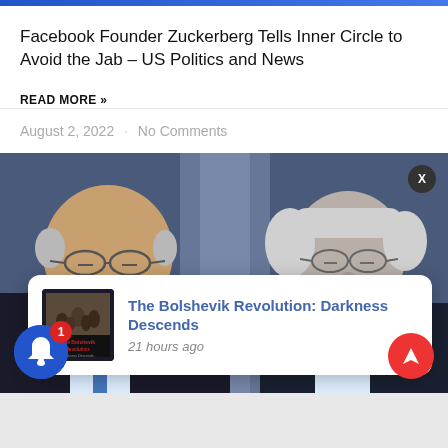Facebook Founder Zuckerberg Tells Inner Circle to Avoid the Jab – US Politics and News
READ MORE »
August 2, 2022  ·  No Comments
[Figure (photo): Two older men in suits at what appears to be a press briefing with blue background; one man on left wearing glasses looking down, another man on right also wearing glasses]
The Bolshevik Revolution: Darkness Descends  21 hours ago